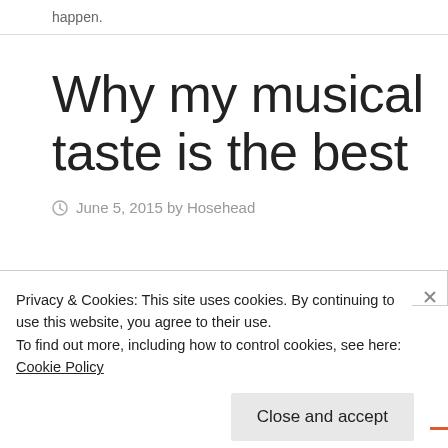happen.
Why my musical taste is the best
June 5, 2015 by Hosehead
Privacy & Cookies: This site uses cookies. By continuing to use this website, you agree to their use.
To find out more, including how to control cookies, see here: Cookie Policy
Close and accept